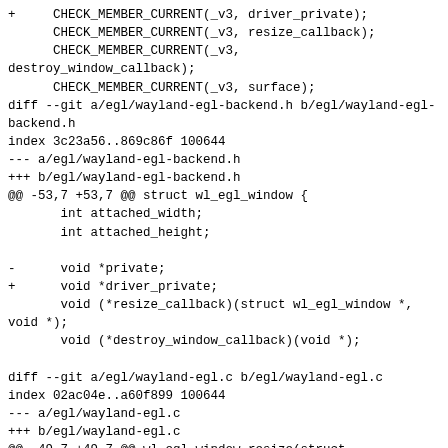+     CHECK_MEMBER_CURRENT(_v3, driver_private);
      CHECK_MEMBER_CURRENT(_v3, resize_callback);
      CHECK_MEMBER_CURRENT(_v3,
destroy_window_callback);
      CHECK_MEMBER_CURRENT(_v3, surface);
diff --git a/egl/wayland-egl-backend.h b/egl/wayland-egl-backend.h
index 3c23a56..869c86f 100644
--- a/egl/wayland-egl-backend.h
+++ b/egl/wayland-egl-backend.h
@@ -53,7 +53,7 @@ struct wl_egl_window {
       int attached_width;
       int attached_height;

-      void *private;
+      void *driver_private;
       void (*resize_callback)(struct wl_egl_window *,
void *);
       void (*destroy_window_callback)(void *);

diff --git a/egl/wayland-egl.c b/egl/wayland-egl.c
index 02ac04e..a60f899 100644
--- a/egl/wayland-egl.c
+++ b/egl/wayland-egl.c
@@ -49,7 +49,7 @@ wl_egl_window_resize(struct wl_egl_window *egl_window,
       egl_window->dy      = dy;

       if (egl_window->resize_callback)
-             egl_window->resize_callback(egl_window,